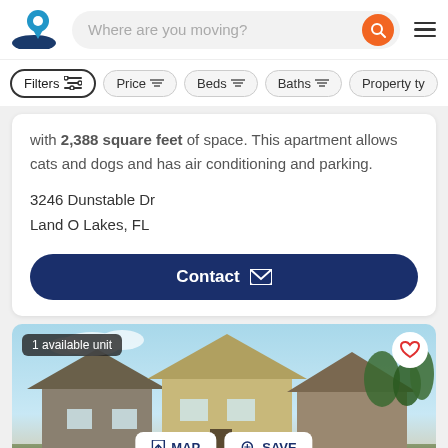[Figure (screenshot): Apartments.com logo with blue location pin and dark blue hill/wave shape]
Where are you moving?
Filters  Price  Beds  Baths  Property ty
with 2,388 square feet of space. This apartment allows cats and dogs and has air conditioning and parking.
3246 Dunstable Dr
Land O Lakes, FL
Contact
1 available unit
MAP   SAVE